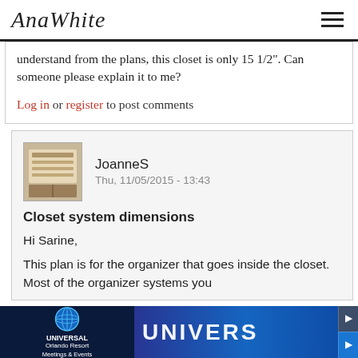AnaWhite
understand from the plans, this closet is only 15 1/2". Can someone please explain it to me?
Log in or register to post comments
JoanneS
Thu, 11/05/2015 - 13:43
Closet system dimensions
Hi Sarine,
This plan is for the organizer that goes inside the closet.  Most of the organizer systems you
[Figure (photo): Universal Orlando Resort advertisement banner with globe logo and 'Meetings & Events' text, and crowd photo with UNIVERS text]